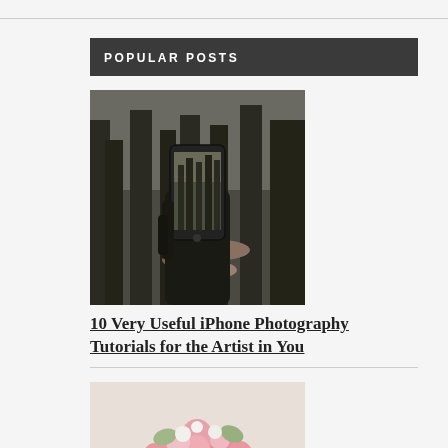POPULAR POSTS
[Figure (photo): A hand holding an iPhone photographing a forest/outdoor scene with stacked logs in the background]
10 Very Useful iPhone Photography Tutorials for the Artist in You
[Figure (photo): A white round box filled with pink peony flowers and greenery, styled as a birthday floral arrangement]
Birthday Flower Design Ideas to Make Your Event Unforgettable